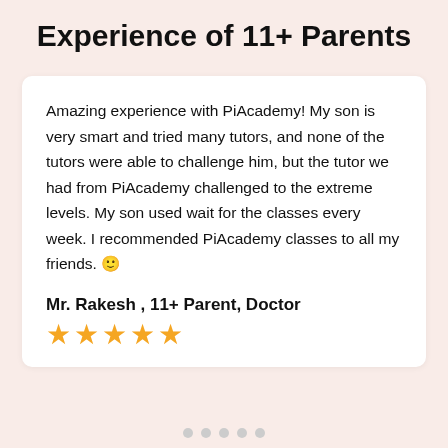Experience of 11+ Parents
Amazing experience with PiAcademy! My son is very smart and tried many tutors, and none of the tutors were able to challenge him, but the tutor we had from PiAcademy challenged to the extreme levels. My son used wait for the classes every week. I recommended PiAcademy classes to all my friends. 🙂
Mr. Rakesh , 11+ Parent, Doctor
[Figure (other): Five gold star rating icons]
[Figure (other): Row of five small pagination dots at the bottom]